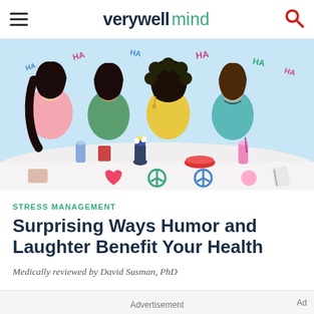verywell mind
[Figure (illustration): Illustration of four diverse women laughing and socializing at a table with drinks and food. 'HA' text scattered around them indicating laughter. Below the illustration are small icons including a heart and peace symbols.]
STRESS MANAGEMENT
Surprising Ways Humor and Laughter Benefit Your Health
Medically reviewed by David Susman, PhD
Advertisement
[Figure (logo): Dotdash Meredith advertisement banner: 'We help people find answers, solve problems and get inspired.' with D logo circle and Dotdash meredith flower logo.]